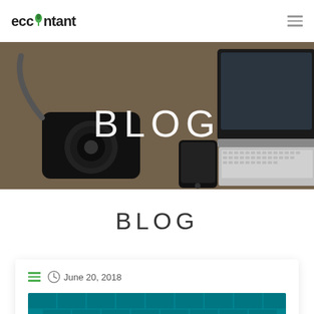eccountant
[Figure (photo): Hero banner photo showing camera, smartphone, and laptop on a desk surface, with BLOG text overlay]
BLOG
June 20, 2018
[Figure (photo): Blog post thumbnail image with teal/blue background]